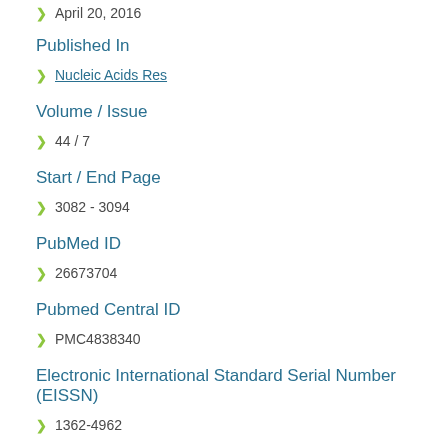April 20, 2016
Published In
Nucleic Acids Res
Volume / Issue
44 / 7
Start / End Page
3082 - 3094
PubMed ID
26673704
Pubmed Central ID
PMC4838340
Electronic International Standard Serial Number (EISSN)
1362-4962